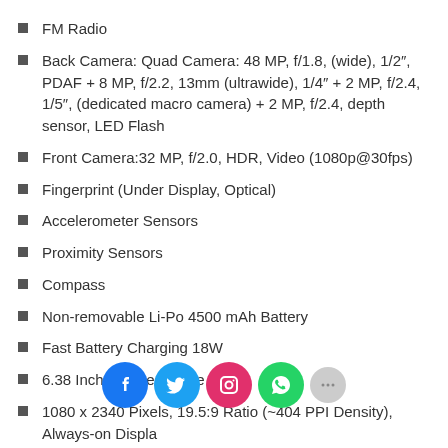FM Radio
Back Camera: Quad Camera: 48 MP, f/1.8, (wide), 1/2″, PDAF + 8 MP, f/2.2, 13mm (ultrawide), 1/4″ + 2 MP, f/2.4, 1/5″, (dedicated macro camera) + 2 MP, f/2.4, depth sensor, LED Flash
Front Camera:32 MP, f/2.0, HDR, Video (1080p@30fps)
Fingerprint (Under Display, Optical)
Accelerometer Sensors
Proximity Sensors
Compass
Non-removable Li-Po 4500 mAh Battery
Fast Battery Charging 18W
6.38 Inches Screen Size
1080 x 2340 Pixels, 19.5:9 Ratio (~404 PPI Density), Always-on Displa…
Android 9.0 (Pie); Funtouch 9.2